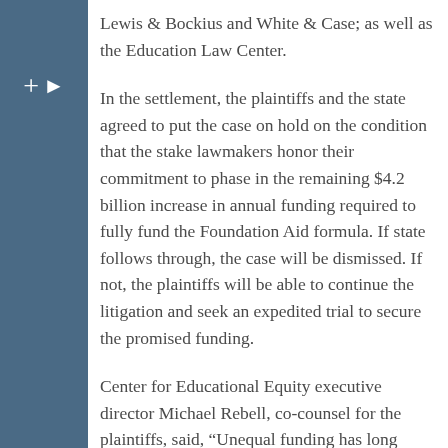Lewis & Bockius and White & Case; as well as the Education Law Center.
In the settlement, the plaintiffs and the state agreed to put the case on hold on the condition that the stake lawmakers honor their commitment to phase in the remaining $4.2 billion increase in annual funding required to fully fund the Foundation Aid formula. If state follows through, the case will be dismissed. If not, the plaintiffs will be able to continue the litigation and seek an expedited trial to secure the promised funding.
Center for Educational Equity executive director Michael Rebell, co-counsel for the plaintiffs, said, “Unequal funding has long been a blight on education in New York State. Yesterday’s agreement will be an important mechanism to ensure that the State lives up to its constitutional obligation to adequately fund